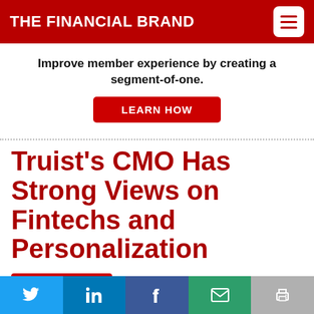THE FINANCIAL BRAND
Improve member experience by creating a segment-of-one.
LEARN HOW
Truist's CMO Has Strong Views on Fintechs and Personalization
SUBSCRIBE NOW   FREE EMAIL NEWSLETTER
Financial marketing veteran Vinoo Vijay brings
[Figure (other): Social share bar with Twitter, LinkedIn, Facebook, Email, and Print buttons]